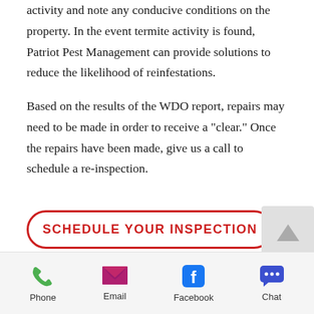activity and note any conducive conditions on the property. In the event termite activity is found, Patriot Pest Management can provide solutions to reduce the likelihood of reinfestations.
Based on the results of the WDO report, repairs may need to be made in order to receive a "clear." Once the repairs have been made, give us a call to schedule a re-inspection.
SCHEDULE YOUR INSPECTION
Phone | Email | Facebook | Chat